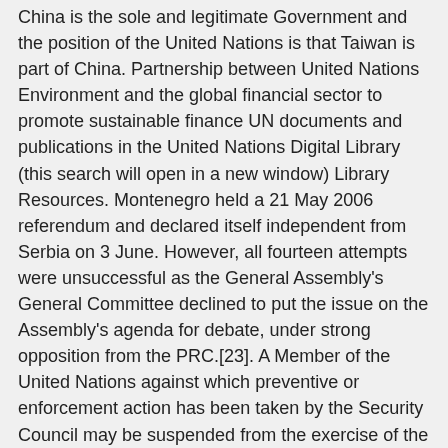China is the sole and legitimate Government and the position of the United Nations is that Taiwan is part of China. Partnership between United Nations Environment and the global financial sector to promote sustainable finance UN documents and publications in the United Nations Digital Library (this search will open in a new window) Library Resources. Montenegro held a 21 May 2006 referendum and declared itself independent from Serbia on 3 June. However, all fourteen attempts were unsuccessful as the General Assembly's General Committee declined to put the issue on the Assembly's agenda for debate, under strong opposition from the PRC.[23]. A Member of the United Nations against which preventive or enforcement action has been taken by the Security Council may be suspended from the exercise of the rights and privileges of membership by the General Assembly upon the recommendation of the Security Council. Flag Member Country Date joined Afghanistan: 19 November 1946 Albania: 14 December 1955 Algeria: 8 October 1962 Andorra: 28 July 1993 Angola: 1 December 1976 Antigua and